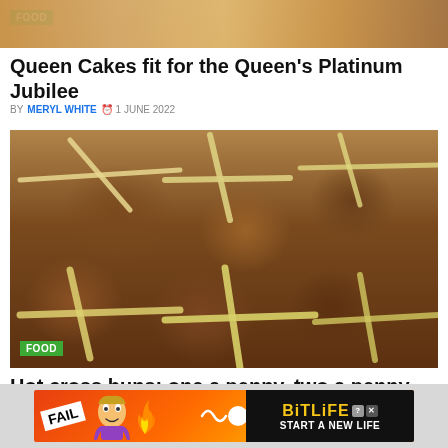[Figure (photo): Top strip of a food photo showing baked goods, partially visible at top of page]
Queen Cakes fit for the Queen's Platinum Jubilee
BY MERYL WHITE  1 JUNE 2022
[Figure (photo): Plate of hot cross buns with white cross icing on top, viewed from above on a dark surface. Green FOOD badge in bottom left corner.]
Hot cross buns: one a penny, two a penny...
BY MERYL WHITE  14 APRIL 2022
[Figure (other): BitLife advertisement banner: FAIL badge, cartoon woman, flames, BitLife logo with question and close icons, START A NEW LIFE text]